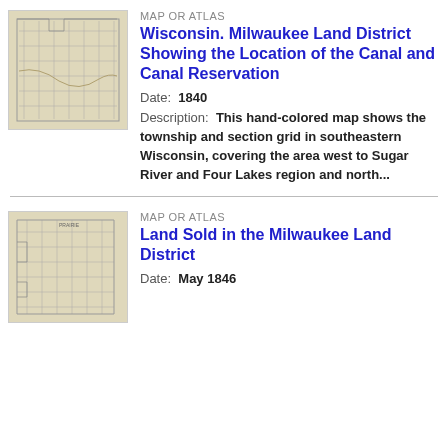MAP OR ATLAS
Wisconsin. Milwaukee Land District Showing the Location of the Canal and Canal Reservation
Date: 1840
Description: This hand-colored map shows the township and section grid in southeastern Wisconsin, covering the area west to Sugar River and Four Lakes region and north...
[Figure (map): Thumbnail image of a hand-colored map showing township and section grid in southeastern Wisconsin]
MAP OR ATLAS
Land Sold in the Milwaukee Land District
Date: May 1846
[Figure (map): Thumbnail image of a map showing land sold in the Milwaukee Land District]